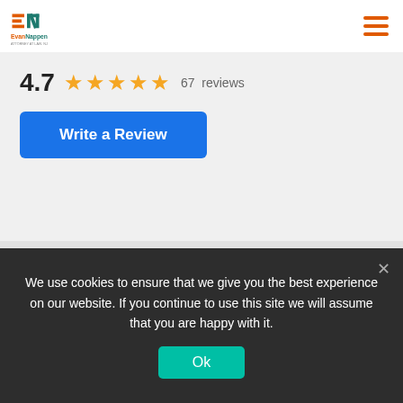EvanNappen Attorney at Law, NJ
4.7  ★★★★★  67 reviews
Write a Review
John Laski
★★★★★  2 days ago
Very informative
Posted on Google
We use cookies to ensure that we give you the best experience on our website. If you continue to use this site we will assume that you are happy with it.
Ok